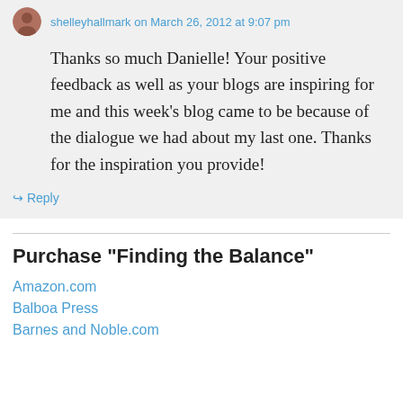shelleyhallmark on March 26, 2012 at 9:07 pm
Thanks so much Danielle! Your positive feedback as well as your blogs are inspiring for me and this week's blog came to be because of the dialogue we had about my last one. Thanks for the inspiration you provide!
↳ Reply
Purchase "Finding the Balance"
Amazon.com
Balboa Press
Barnes and Noble.com